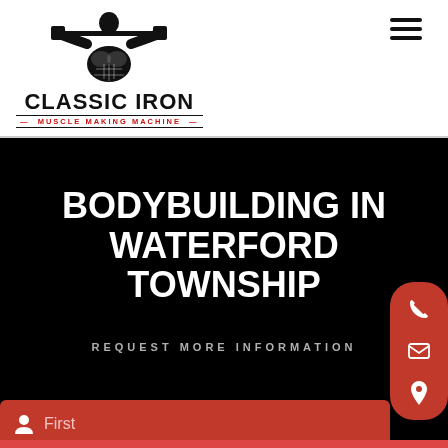[Figure (logo): Classic Iron Muscle Making Machine logo with a muscular bodybuilder holding a barbell overhead, black and white illustration, text reads CLASSIC IRON with MUSCLE MAKING MACHINE in red below]
BODYBUILDING IN WATERFORD TOWNSHIP
REQUEST MORE INFORMATION
First